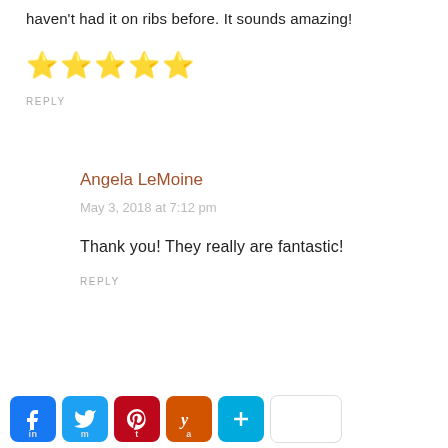haven't had it on ribs before. It sounds amazing!
[Figure (other): Five yellow star rating icons]
REPLY
Angela LeMoine
May 3, 2018 at 7:12 pm
Thank you! They really are fantastic!
REPLY
[Figure (other): Social sharing buttons: Facebook, Twitter, Pinterest, Yummly, More, and an empty button]